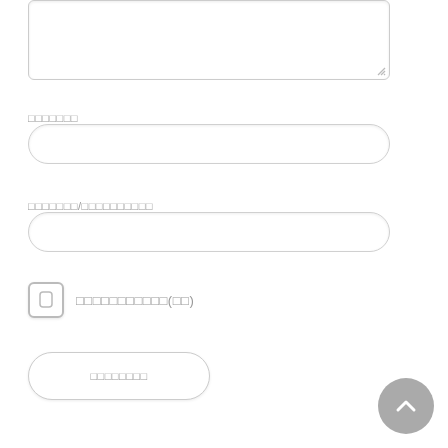[Figure (screenshot): A textarea input field with a resize handle at bottom-right, partially visible at the top of the page]
□□□□□□□
[Figure (screenshot): A single-line rounded input field (text input box 1)]
□□□□□□□/□□□□□□□□□□
[Figure (screenshot): A single-line rounded input field (text input box 2)]
□□□□□□□□□□□(□□)
[Figure (screenshot): A submit button (rounded rectangle) with Japanese placeholder text]
[Figure (screenshot): A circular grey back-to-top button with an upward chevron arrow]